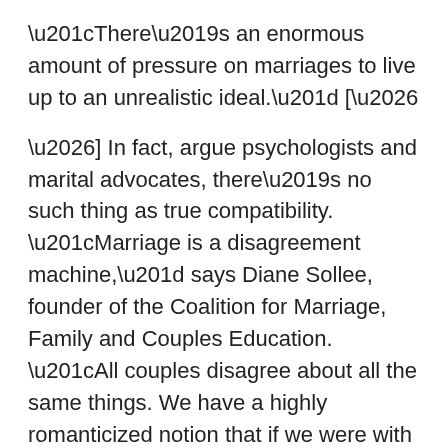“There’s an enormous amount of pressure on marriages to live up to an unrealistic ideal.” […
…] In fact, argue psychologists and marital advocates, there’s no such thing as true compatibility. “Marriage is a disagreement machine,” says Diane Sollee, founder of the Coalition for Marriage, Family and Couples Education. “All couples disagree about all the same things. We have a highly romanticized notion that if we were with the right person, we wouldn’t fight.” Discord springs eternal over money, kids, sex and leisure time, but psychologist John Gottman has shown that long-term, happily married couples disagree about these things just as much as couples who divorce.
“There is a mythology of ‘the wrong person,’” agrees Pittman. “All marriages are incompatible. All marriages are